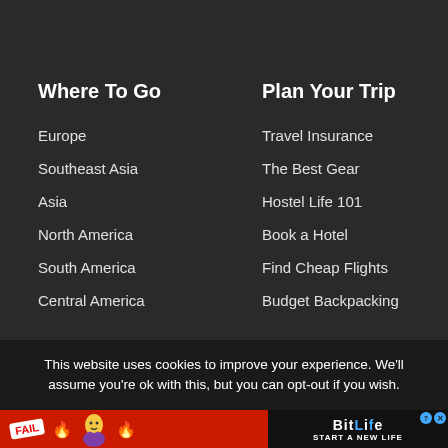Where To Go
Europe
Southeast Asia
Asia
North America
South America
Central America
Plan Your Trip
Travel Insurance
The Best Gear
Hostel Life 101
Book a Hotel
Find Cheap Flights
Budget Backpacking
This website uses cookies to improve your experience. We'll assume you're ok with this, but you can opt-out if you wish.
[Figure (illustration): BitLife advertisement banner with FAIL badge, flame icons, cartoon character, and 'START A NEW LIFE' text on dark background]